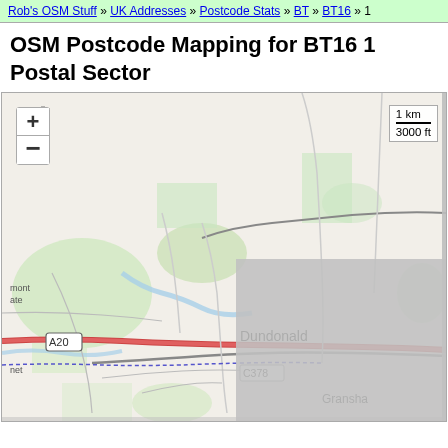Rob's OSM Stuff » UK Addresses » Postcode Stats » BT » BT16 » 1
OSM Postcode Mapping for BT16 1 Postal Sector
[Figure (map): OpenStreetMap tile showing the BT16 1 postal sector area around Dundonald, Northern Ireland. Map includes roads A20, C262, C378, area labels for Dundonald and Gransha, zoom controls (+/-), and a scale bar showing 1 km / 3000 ft. Right and bottom portions of the map are greyed out indicating unmapped/restricted area.]